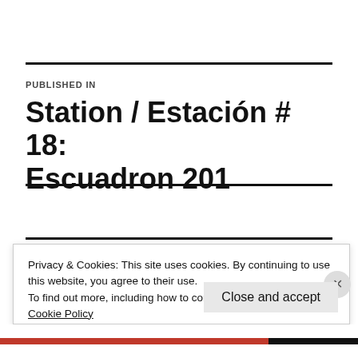PUBLISHED IN
Station / Estación # 18: Escuadron 201
Privacy & Cookies: This site uses cookies. By continuing to use this website, you agree to their use.
To find out more, including how to control cookies, see here:
Cookie Policy
Close and accept